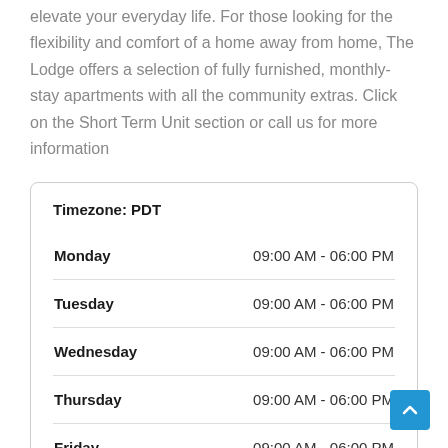elevate your everyday life. For those looking for the flexibility and comfort of a home away from home, The Lodge offers a selection of fully furnished, monthly-stay apartments with all the community extras. Click on the Short Term Unit section or call us for more information
| Day | Hours |
| --- | --- |
| Monday | 09:00 AM - 06:00 PM |
| Tuesday | 09:00 AM - 06:00 PM |
| Wednesday | 09:00 AM - 06:00 PM |
| Thursday | 09:00 AM - 06:00 PM |
| Friday | 09:00 AM - 06:00 PM |